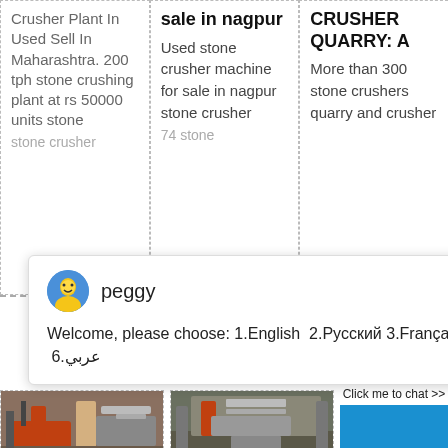Crusher Plant In Used Sell In Maharashtra. 200 tph stone crushing plant at rs 50000 units stone
sale in nagpur
Used stone crusher machine for sale in nagpur stone crusher
CRUSHER QUARRY: A
More than 300 stone crushers quarry and crusher
[Figure (screenshot): Chat popup overlay with avatar of 'peggy' and message: Welcome, please choose: 1.English 2.Русский 3.Français 4.Español 5.bahasa Indonesia 6.عربي]
[Figure (photo): Stone crusher plant machinery on left]
[Figure (photo): Stone crushing plant machinery on right]
stone crusher in
Ajor Stone Crushing
Enquiry
cywaitml@gmail.com